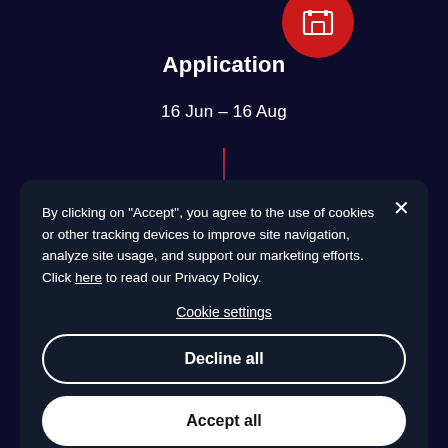[Figure (illustration): Red circle icon with a white building/castle icon in the center, positioned at the top center]
Application
16 Jun - 16 Aug
By clicking on "Accept", you agree to the use of cookies or other tracking devices to improve site navigation, analyze site usage, and support our marketing efforts. Click here to read our Privacy Policy.
Cookie settings
Decline all
Accept all